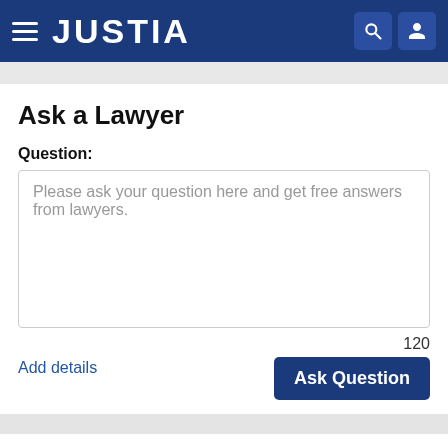JUSTIA
Ask a Lawyer
Question:
Please ask your question here and get free answers from lawyers.
Add details
120
Ask Question
Find a Lawyer
Criminal Law